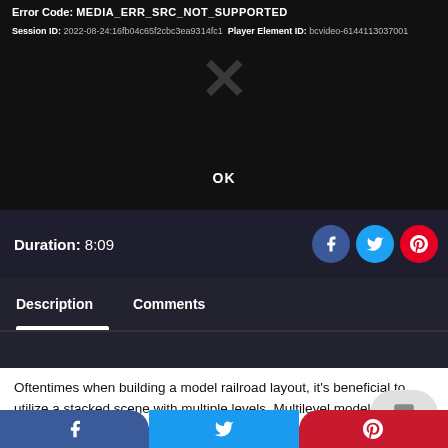[Figure (screenshot): Video player error screen showing error code MEDIA_ERR_SRC_NOT_SUPPORTED with session ID and player element ID, an X cross symbol, and an OK button on dark background]
Duration: 8:09
[Figure (other): Social share icons: Facebook (blue circle), Twitter (cyan circle), Pinterest (red circle)]
Description   Comments
Oftentimes when building a model railroad layout, it's beneficial to utilize a stacked scene with multiple levels. Multilevel model train benchwork offers a number of unique advantages, a number of which is the
[Figure (other): Bottom share bar with Facebook (blue), Twitter (cyan), Pinterest (red) buttons]
[Figure (other): Comment bubble icon overlay]